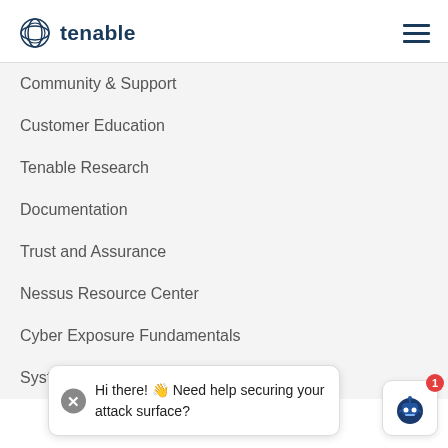tenable (logo)
Community & Support
Customer Education
Tenable Research
Documentation
Trust and Assurance
Nessus Resource Center
Cyber Exposure Fundamentals
System Status
Hi there! 👋 Need help securing your attack surface?